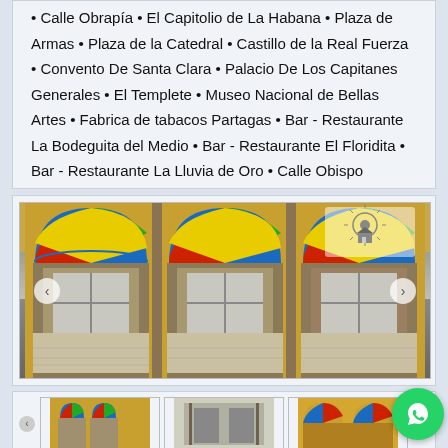• Calle Obrapía • El Capitolio de La Habana • Plaza de Armas • Plaza de la Catedral • Castillo de la Real Fuerza • Convento De Santa Clara • Palacio De Los Capitanes Generales • El Templete • Museo Nacional de Bellas Artes • Fabrica de tabacos Partagas • Bar - Restaurante La Bodeguita del Medio • Bar - Restaurante El Floridita • Bar - Restaurante La Lluvia de Oro • Calle Obispo
[Figure (photo): Photo of colonial building facade with three arched stained glass windows (colorful red, blue, green, yellow fan patterns) above wooden shuttered doors, yellow walls, weathered lower sections with tiled details. Navigation arrows on left and right sides. Small watermark/logo in top right corner.]
[Figure (photo): Row of three thumbnail photos of colonial Cuban architecture: left shows yellow building with stained glass arches, middle shows street view of colonial buildings, right shows another yellow colonial facade.]